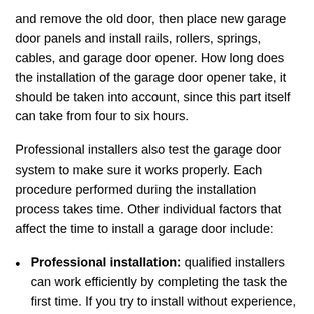and remove the old door, then place new garage door panels and install rails, rollers, springs, cables, and garage door opener. How long does the installation of the garage door opener take, it should be taken into account, since this part itself can take from four to six hours.
Professional installers also test the garage door system to make sure it works properly. Each procedure performed during the installation process takes time. Other individual factors that affect the time to install a garage door include:
Professional installation: qualified installers can work efficiently by completing the task the first time. If you try to install without experience, it will increase the time. A specialist can complete a new construction in just three hours, and the replacement of an old garage door requires additional steps.